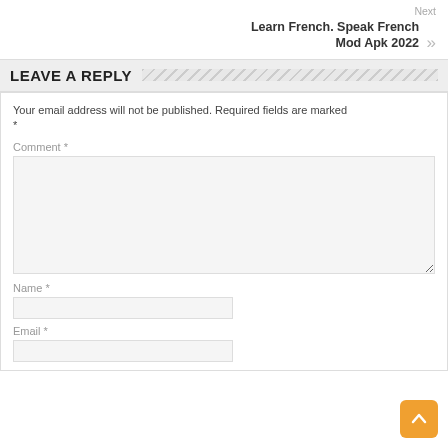Next
Learn French. Speak French Mod Apk 2022
LEAVE A REPLY
Your email address will not be published. Required fields are marked *
Comment *
Name *
Email *